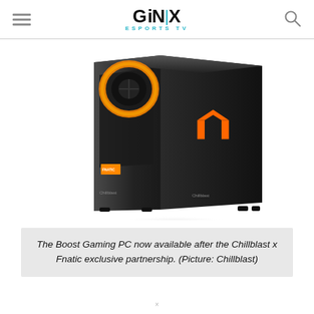GINX ESPORTS TV
[Figure (photo): A black Chillblast Boost gaming PC tower with an orange Fnatic logo on the side panel and orange RGB lighting ring visible through the glass side panel. The PC case has Chillblast branding on two sides.]
The Boost Gaming PC now available after the Chillblast x Fnatic exclusive partnership. (Picture: Chillblast)